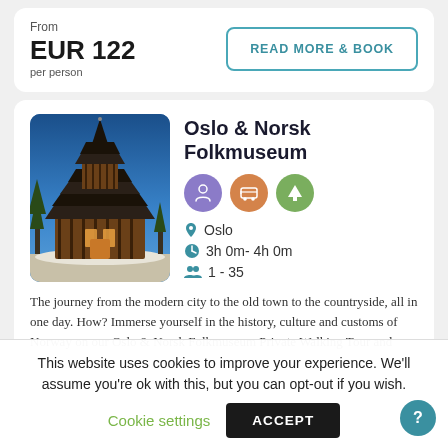From
EUR 122
per person
READ MORE & BOOK
Oslo & Norsk Folkmuseum
Oslo
3h 0m- 4h 0m
1 - 35
[Figure (photo): Stave church wooden building with steep multi-tiered dark roof against blue sky, located at Norsk Folkmuseum Oslo]
The journey from the modern city to the old town to the countryside, all in one day. How? Immerse yourself in the history, culture and customs of Norway on our Oslo & Norsk Folkmuseum Private Walking Tour and
This website uses cookies to improve your experience. We'll assume you're ok with this, but you can opt-out if you wish.
Cookie settings
ACCEPT